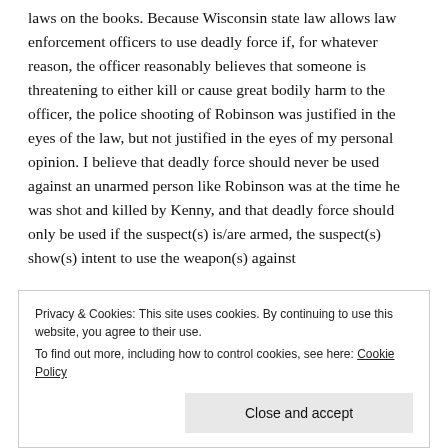laws on the books. Because Wisconsin state law allows law enforcement officers to use deadly force if, for whatever reason, the officer reasonably believes that someone is threatening to either kill or cause great bodily harm to the officer, the police shooting of Robinson was justified in the eyes of the law, but not justified in the eyes of my personal opinion. I believe that deadly force should never be used against an unarmed person like Robinson was at the time he was shot and killed by Kenny, and that deadly force should only be used if the suspect(s) is/are armed, the suspect(s) show(s) intent to use the weapon(s) against
Privacy & Cookies: This site uses cookies. By continuing to use this website, you agree to their use.
To find out more, including how to control cookies, see here: Cookie Policy
Close and accept